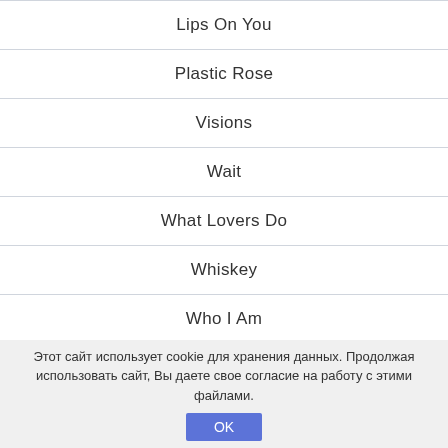Lips On You
Plastic Rose
Visions
Wait
What Lovers Do
Whiskey
Who I Am
Этот сайт использует cookie для хранения данных. Продолжая использовать сайт, Вы даете свое согласие на работу с этими файлами.